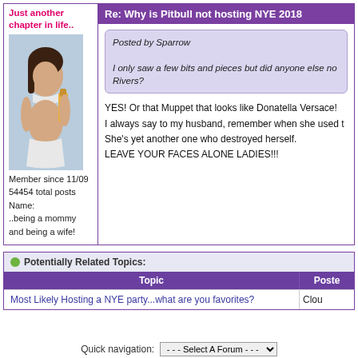Re: Why is Pitbull not hosting NYE 2018
Just another chapter in life..
[Figure (photo): A woman in a bikini holding a bottle, appears pregnant]
Member since 11/09
54454 total posts
Name:
..being a mommy and being a wife!
Posted by Sparrow

I only saw a few bits and pieces but did anyone else no Rivers?
YES! Or that Muppet that looks like Donatella Versace!
I always say to my husband, remember when she used t
She's yet another one who destroyed herself.
LEAVE YOUR FACES ALONE LADIES!!!
Potentially Related Topics:
| Topic | Poste |
| --- | --- |
| Most Likely Hosting a NYE party...what are you favorites? | Clou |
Quick navigation: - - - Select A Forum - - -